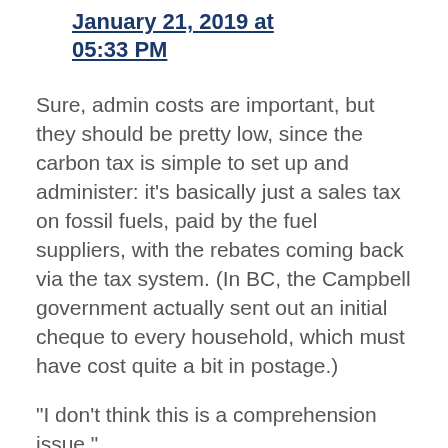Smith | January 21, 2019 at 05:33 PM
Sure, admin costs are important, but they should be pretty low, since the carbon tax is simple to set up and administer: it's basically just a sales tax on fossil fuels, paid by the fuel suppliers, with the rebates coming back via the tax system. (In BC, the Campbell government actually sent out an initial cheque to every household, which must have cost quite a bit in postage.)
"I don't think this is a comprehension issue."